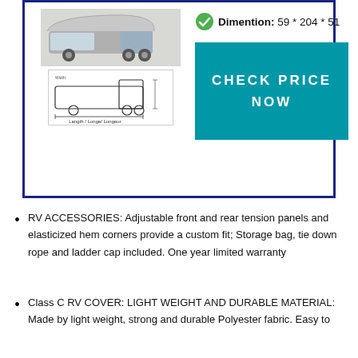[Figure (photo): Product box showing RV photo on left and dimension/price info on right, with blue border]
RV ACCESSORIES: Adjustable front and rear tension panels and elasticized hem corners provide a custom fit; Storage bag, tie down rope and ladder cap included. One year limited warranty
Class C RV COVER: LIGHT WEIGHT AND DURABLE MATERIAL: Made by light weight, strong and durable Polyester fabric. Easy to